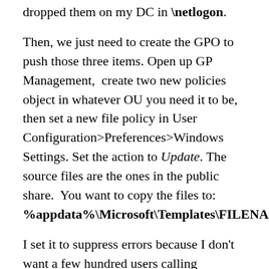dropped them on my DC in \netlogon.
Then, we just need to create the GPO to push those three items. Open up GP Management,  create two new policies object in whatever OU you need it to be, then set a new file policy in User Configuration>Preferences>Windows Settings. Set the action to Update. The source files are the ones in the public share.  You want to copy the files to: %appdata%\Microsoft\Templates\FILENAME.
I set it to suppress errors because I don't want a few hundred users calling Helpdesk to tell them about login errors if for some reason the policy breaks everything when I roll it out en masse. On the common tab I have it set to run under the logged-on user's security context, since we're applying it to a user-profile based variable (%appdata%), we don't want it running as the local system, which